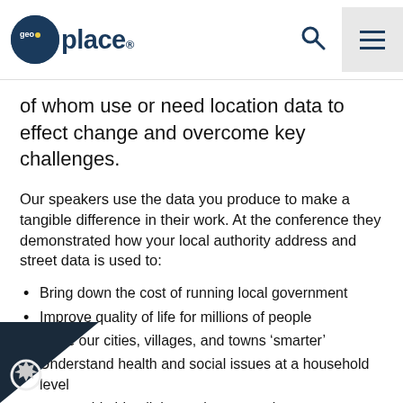GeoPlace logo, search icon, menu icon
of whom use or need location data to effect change and overcome key challenges.
Our speakers use the data you produce to make a tangible difference in their work. At the conference they demonstrated how your local authority address and street data is used to:
Bring down the cost of running local government
Improve quality of life for millions of people
Make our cities, villages, and towns ‘smarter’
Understand health and social issues at a household level
nable blue light services to work more effectively and monitor land use, ownership, and